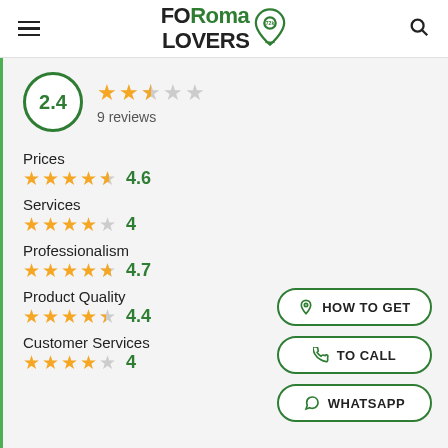FORoma LOVERS
[Figure (infographic): Rating summary showing 2.4 out of 5 stars from 9 reviews, with category breakdowns: Prices 4.6, Services 4, Professionalism 4.7, Product Quality 4.4, Customer Services 4]
2.4
9 reviews
Prices
4.6
Services
4
Professionalism
4.7
Product Quality
4.4
Customer Services
4
HOW TO GET
TO CALL
WHATSAPP